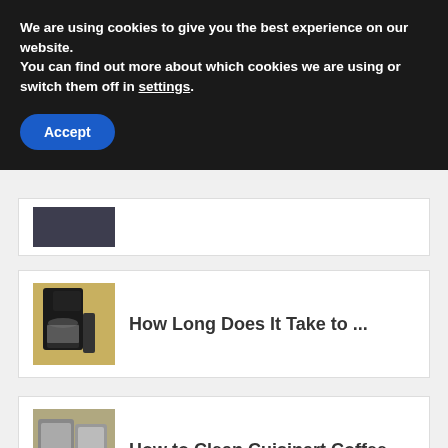We are using cookies to give you the best experience on our website.
You can find out more about which cookies we are using or switch them off in settings.
Accept
[Figure (photo): Partial thumbnail of an article, dark/blurred image]
[Figure (photo): Black drip coffee maker on a counter]
How Long Does It Take to ...
[Figure (photo): Cuisinart coffee maker stainless steel]
How to Clean Cuisinart Coffee
Download The Free App
Download
Ad